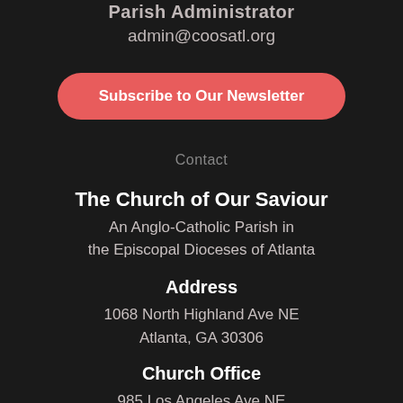Parish Administrator
admin@coosatl.org
Subscribe to Our Newsletter
Contact
The Church of Our Saviour
An Anglo-Catholic Parish in the Episcopal Dioceses of Atlanta
Address
1068 North Highland Ave NE
Atlanta, GA 30306
Church Office
985 Los Angeles Ave NE
Atlanta, GA 30306